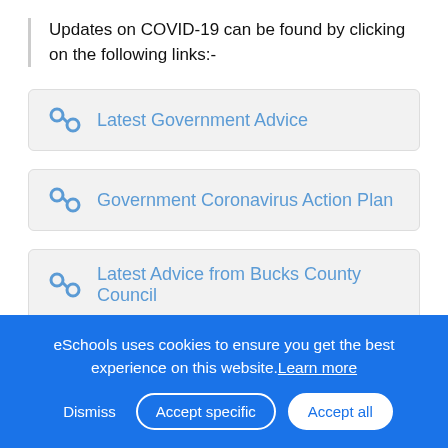Updates on COVID-19 can be found by clicking on the following links:-
Latest Government Advice
Government Coronavirus Action Plan
Latest Advice from Bucks County Council
The Department for Education
eSchools uses cookies to ensure you get the best experience on this website. Learn more
Dismiss  Accept specific  Accept all